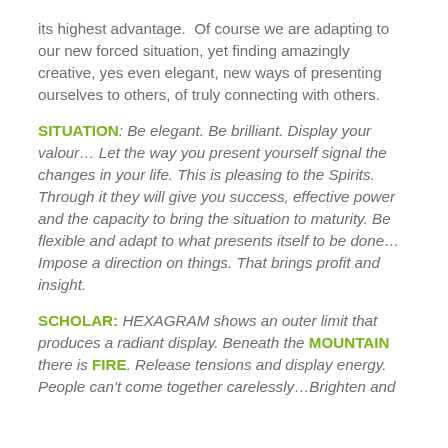its highest advantage.  Of course we are adapting to our new forced situation, yet finding amazingly creative, yes even elegant, new ways of presenting ourselves to others, of truly connecting with others.
SITUATION: Be elegant. Be brilliant. Display your valour… Let the way you present yourself signal the changes in your life. This is pleasing to the Spirits. Through it they will give you success, effective power and the capacity to bring the situation to maturity. Be flexible and adapt to what presents itself to be done… Impose a direction on things. That brings profit and insight.
SCHOLAR: HEXAGRAM shows an outer limit that produces a radiant display. Beneath the MOUNTAIN there is FIRE. Release tensions and display energy. People can't come together carelessly…Brighten and